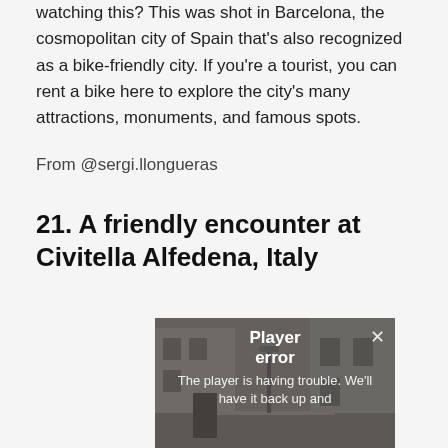watching this? This was shot in Barcelona, the cosmopolitan city of Spain that's also recognized as a bike-friendly city. If you're a tourist, you can rent a bike here to explore the city's many attractions, monuments, and famous spots.
From @sergi.llongueras
21. A friendly encounter at Civitella Alfedena, Italy
[Figure (screenshot): Video player showing a street scene in Civitella Alfedena, Italy, with a 'Player error' overlay reading 'The player is having trouble. We'll have it back up and' along with a close (×) button.]